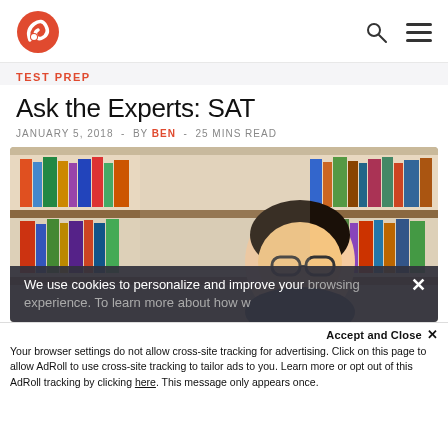TEST PREP — Ask the Experts: SAT
TEST PREP
Ask the Experts: SAT
JANUARY 5, 2018  -  BY BEN  -  25 MINS READ
[Figure (photo): Young Asian man with glasses reading in a library with bookshelves in background]
We use cookies to personalize and improve your browsing experience. To learn more about how w...
Accept and Close ×
Your browser settings do not allow cross-site tracking for advertising. Click on this page to allow AdRoll to use cross-site tracking to tailor ads to you. Learn more or opt out of this AdRoll tracking by clicking here. This message only appears once.